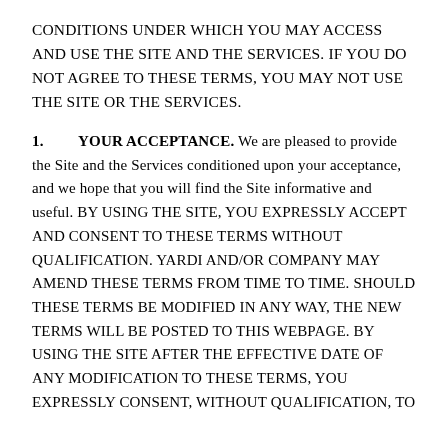CONDITIONS UNDER WHICH YOU MAY ACCESS AND USE THE SITE AND THE SERVICES. IF YOU DO NOT AGREE TO THESE TERMS, YOU MAY NOT USE THE SITE OR THE SERVICES.
1. YOUR ACCEPTANCE. We are pleased to provide the Site and the Services conditioned upon your acceptance, and we hope that you will find the Site informative and useful. BY USING THE SITE, YOU EXPRESSLY ACCEPT AND CONSENT TO THESE TERMS WITHOUT QUALIFICATION. YARDI AND/OR COMPANY MAY AMEND THESE TERMS FROM TIME TO TIME. SHOULD THESE TERMS BE MODIFIED IN ANY WAY, THE NEW TERMS WILL BE POSTED TO THIS WEBPAGE. BY USING THE SITE AFTER THE EFFECTIVE DATE OF ANY MODIFICATION TO THESE TERMS, YOU EXPRESSLY CONSENT, WITHOUT QUALIFICATION, TO